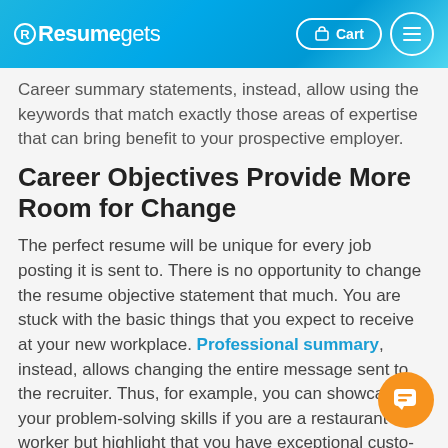Resumegets | Cart | Menu
Career summary statements, instead, allow using the keywords that match exactly those areas of expertise that can bring benefit to your prospective employer.
Career Objectives Provide More Room for Change
The perfect resume will be unique for every job posting it is sent to. There is no opportunity to change the resume objective statement that much. You are stuck with the basic things that you expect to receive at your new workplace. Professional summary, instead, allows changing the entire message sent to the recruiter. Thus, for example, you can showcase your problem-solving skills if you are a restaurant worker but highlight that you have exceptional customer service if you intend to get a position as a receptionist by using your career statement.